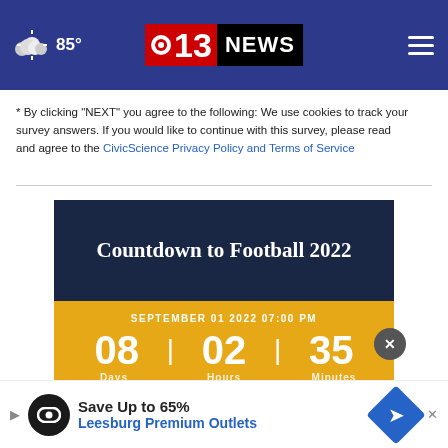85° | 13 NEWS (CBS)
* By clicking "NEXT" you agree to the following: We use cookies to track your survey answers. If you would like to continue with this survey, please read and agree to the CivicScience Privacy Policy and Terms of Service
[Figure (infographic): Countdown to Football 2022 countdown clock showing SEPTEMBER 01 2022 07:00 PM with 08 Days, 02 Hours, 35 Minutes remaining]
[Figure (infographic): Advertisement: Save Up to 65% - Leesburg Premium Outlets]